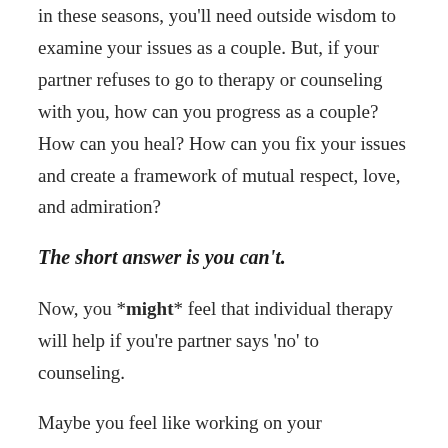in these seasons, you'll need outside wisdom to examine your issues as a couple. But, if your partner refuses to go to therapy or counseling with you, how can you progress as a couple? How can you heal? How can you fix your issues and create a framework of mutual respect, love, and admiration?
The short answer is you can't.
Now, you *might* feel that individual therapy will help if you're partner says 'no' to counseling.
Maybe you feel like working on your relationship